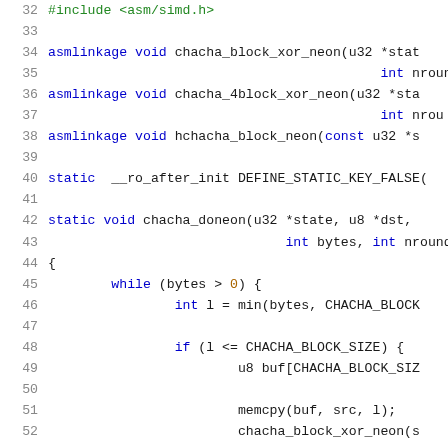32  #include <asm/simd.h>
33
34  asmlinkage void chacha_block_xor_neon(u32 *state,
35                                        int nrounds
36  asmlinkage void chacha_4block_xor_neon(u32 *state,
37                                        int nrounds
38  asmlinkage void hchacha_block_neon(const u32 *s
39
40  static __ro_after_init DEFINE_STATIC_KEY_FALSE(
41
42  static void chacha_doneon(u32 *state, u8 *dst,
43                            int bytes, int nrounds
44  {
45          while (bytes > 0) {
46                  int l = min(bytes, CHACHA_BLOCK
47
48                  if (l <= CHACHA_BLOCK_SIZE) {
49                          u8 buf[CHACHA_BLOCK_SIZE
50
51                          memcpy(buf, src, l);
52                          chacha_block_xor_neon(s